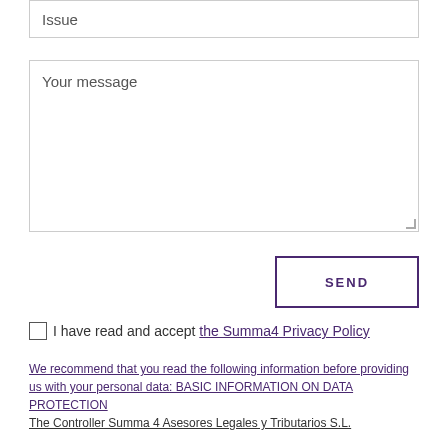Issue
Your message
SEND
I have read and accept the Summa4 Privacy Policy
We recommend that you read the following information before providing us with your personal data: BASIC INFORMATION ON DATA PROTECTION
The Controller Summa 4 Asesores Legales y Tributarios S.L.